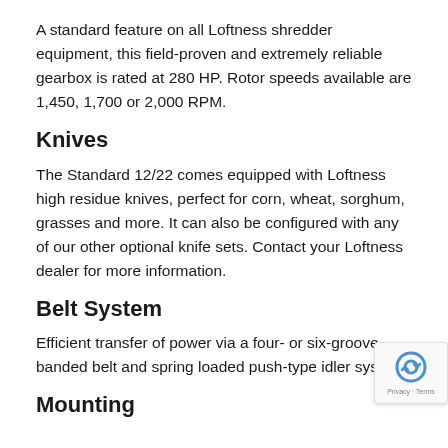A standard feature on all Loftness shredder equipment, this field-proven and extremely reliable gearbox is rated at 280 HP. Rotor speeds available are 1,450, 1,700 or 2,000 RPM.
Knives
The Standard 12/22 comes equipped with Loftness high residue knives, perfect for corn, wheat, sorghum, grasses and more. It can also be configured with any of our other optional knife sets. Contact your Loftness dealer for more information.
Belt System
Efficient transfer of power via a four- or six-groove banded belt and spring loaded push-type idler syst
Mounting